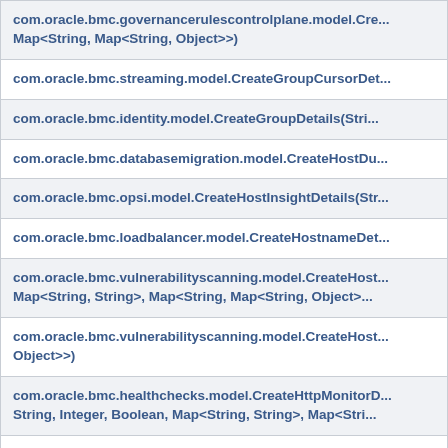| com.oracle.bmc.governancerulescontrolplane.model.Cre... Map<String, Map<String, Object>>) |
| com.oracle.bmc.streaming.model.CreateGroupCursorDet... |
| com.oracle.bmc.identity.model.CreateGroupDetails(Stri... |
| com.oracle.bmc.databasemigration.model.CreateHostDu... |
| com.oracle.bmc.opsi.model.CreateHostInsightDetails(Str... |
| com.oracle.bmc.loadbalancer.model.CreateHostnameDet... |
| com.oracle.bmc.vulnerabilityscanning.model.CreateHost... Map<String, String>, Map<String, Map<String, Object>... |
| com.oracle.bmc.vulnerabilityscanning.model.CreateHost... Object>>) |
| com.oracle.bmc.healthchecks.model.CreateHttpMonitorD... String, Integer, Boolean, Map<String, String>, Map<Stri... |
| com.oracle.bmc.waas.model.CreateHttpRedirectDetails(S... |
| com.oracle.bmc.identity.model.CreateIdentityProviderDe... Object>>) |
| com.oracle.bmc.identity.model.CreateIdpGroupMappingD... |
| com.oracle.bmc.core.model.CreateImageDetails(String,... |